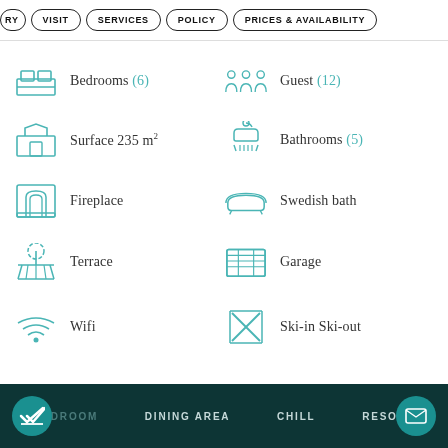RY  VISIT  SERVICES  POLICY  PRICES & AVAILABILITY
Bedrooms (6)
Guest (12)
Surface 235 m²
Bathrooms (5)
Fireplace
Swedish bath
Terrace
Garage
Wifi
Ski-in Ski-out
BEDROOM  DINING AREA  CHILL  RESORT